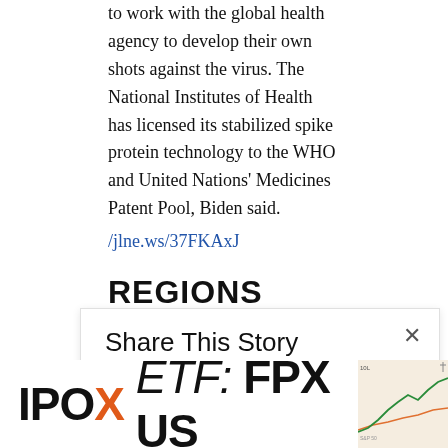to work with the global health agency to develop their own shots against the virus. The National Institutes of Health has licensed its stabilized spike protein technology to the WHO and United Nations' Medicines Patent Pool, Biden said.
/jlne.ws/37FKAxJ
REGIONS
Saudi Energy Minister Says Record Fuel Costs Driven by Refining Crunch; Refinery closures have reduced capacity: Prince Abdulaziz; Prince forewarned of crisis at conference in India in
[Figure (other): Share This Story popup with close button and social media icons (Facebook, Twitter, LinkedIn, and others)]
[Figure (other): IPOX ETF: FPX US advertisement banner with green background and a line chart showing performance vs S&P 500]